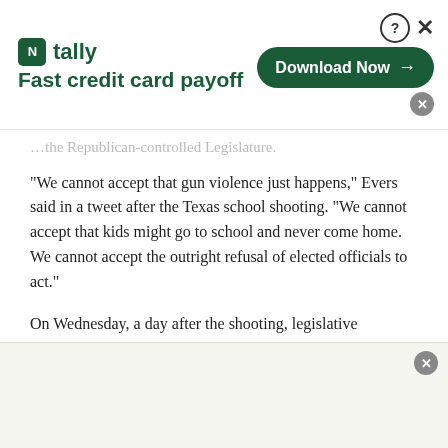[Figure (other): Tally app advertisement banner with logo, tagline 'Fast credit card payoff', and a green 'Download Now' button with arrow. Close (X) and help (?) icons in top right corner.]
the Republican-controlled Legislature.
“We cannot accept that gun violence just happens,” Evers said in a tweet after the Texas school shooting. “We cannot accept that kids might go to school and never come home. We cannot accept the outright refusal of elected officials to act.”
On Wednesday, a day after the shooting, legislative
[Figure (other): Bottom advertisement bar with gray background and close button]